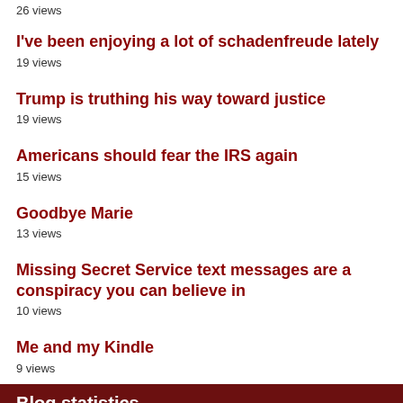26 views
I've been enjoying a lot of schadenfreude lately
19 views
Trump is truthing his way toward justice
19 views
Americans should fear the IRS again
15 views
Goodbye Marie
13 views
Missing Secret Service text messages are a conspiracy you can believe in
10 views
Me and my Kindle
9 views
Blog statistics
Posts: 2,239